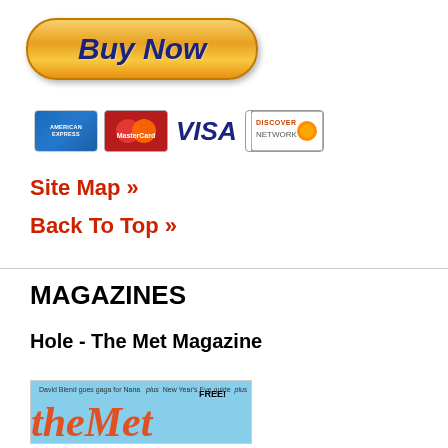[Figure (screenshot): PayPal Buy Now button (orange rounded rectangle with italic bold dark blue 'Buy Now' text)]
[Figure (screenshot): Payment method icons: American Express, MasterCard, VISA, Discover]
Site Map »
Back To Top »
MAGAZINES
Hole - The Met Magazine
[Figure (photo): Partial magazine cover for 'the Met' magazine with blue background and orange/red stylized title text. Top text reads: David Blend goes gaga for Nana plus New Year's Eve guide plus. FREE! banner visible.]